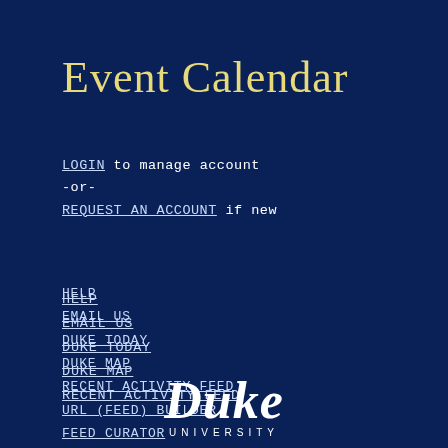Event Calendar
LOGIN to manage account
-or-
REQUEST AN ACCOUNT if new
HELP
EMAIL US
DUKE TODAY
DUKE MAP
RECENT ACTIVITY FEED
URL (FEED) BUILDER
FEED CURATOR
[Figure (logo): Duke University logo: italic serif 'Duke' in white with 'UNIVERSITY' in small caps beneath]